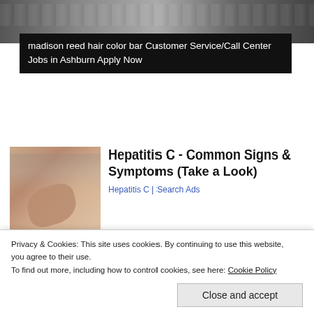[Figure (photo): Top banner with blurred background scene, dark overlay]
madison reed hair color bar Customer Service/Call Center Jobs in Ashburn Apply Now
[Figure (photo): Close-up photo of a person's hand touching their side/torso area, skin tones]
Hepatitis C - Common Signs & Symptoms (Take a Look)
Hepatitis C | Search Ads
[Figure (photo): Dark night photo with trees or foliage silhouettes]
Finally, Congress Passes Billions for Camp Lejeune Families
Privacy & Cookies: This site uses cookies. By continuing to use this website, you agree to their use.
To find out more, including how to control cookies, see here: Cookie Policy
Close and accept